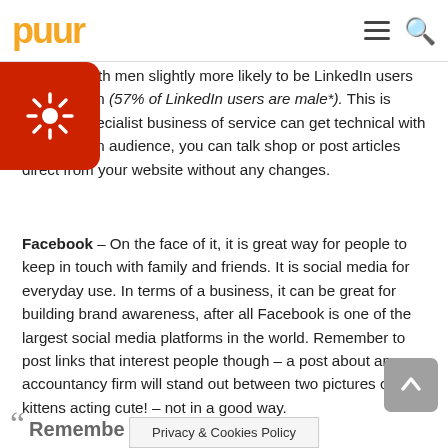puur
network, with men slightly more likely to be LinkedIn users than women (57% of LinkedIn users are male*). This is where a specialist business of service can get technical with your chosen audience, you can talk shop or post articles direct from your website without any changes.
Facebook – On the face of it, it is great way for people to keep in touch with family and friends. It is social media for everyday use. In terms of a business, it can be great for building brand awareness, after all Facebook is one of the largest social media platforms in the world. Remember to post links that interest people though – a post about an accountancy firm will stand out between two pictures of kittens acting cute! – not in a good way.
Remember